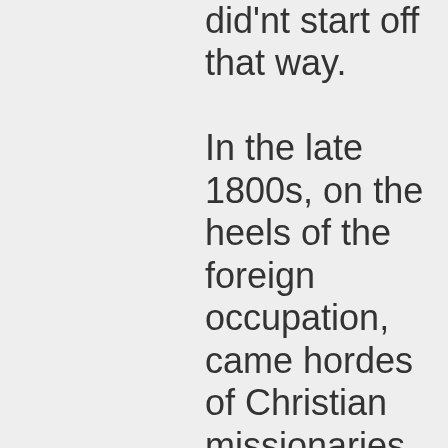did'nt start off that way. In the late 1800s, on the heels of the foreign occupation, came hordes of Christian missionaries. Various martial arts groups religious societies were deeply